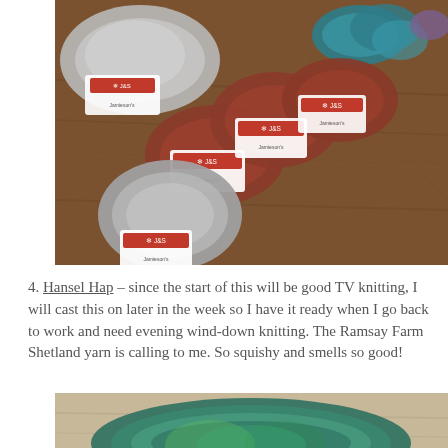[Figure (photo): Multiple skeins and balls of Jamieson & Smith (J&S) Shetland wool yarn in grey and rust/terracotta colors arranged on a wooden surface. Labels show snowflake logo and 'J&S' branding.]
4. Hansel Hap – since the start of this will be good TV knitting, I will cast this on later in the week so I have it ready when I go back to work and need evening wind-down knitting. The Ramsay Farm Shetland yarn is calling to me. So squishy and smells so good!
[Figure (photo): Close-up of a skein of variegated teal/green yarn on a light wooden surface.]